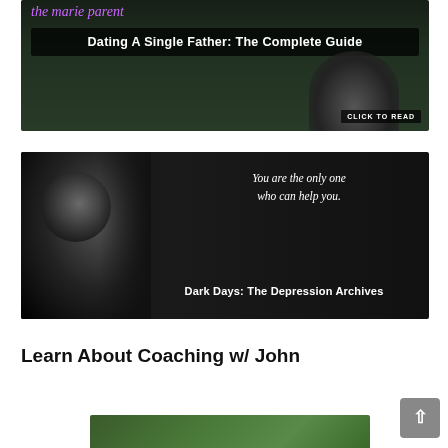[Figure (photo): Banner image for 'Dating A Single Father: The Complete Guide' with couple in background and purple script text at top. Dark overlay with white bold title text and 'CLICK TO READ' button at bottom right.]
[Figure (photo): Dark banner image with woman's face on left side. White italic script text reads 'You are the only one who can help you.' with bold subtitle 'Dark Days: The Depression Archives']
Learn About Coaching w/ John
[Figure (photo): Partial image at bottom of page, appears to be outdoor/nature scene, partially cut off.]